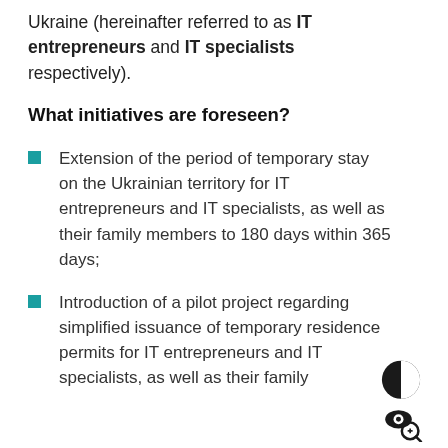Ukraine (hereinafter referred to as IT entrepreneurs and IT specialists respectively).
What initiatives are foreseen?
Extension of the period of temporary stay on the Ukrainian territory for IT entrepreneurs and IT specialists, as well as their family members to 180 days within 365 days;
Introduction of a pilot project regarding simplified issuance of temporary residence permits for IT entrepreneurs and IT specialists, as well as their family